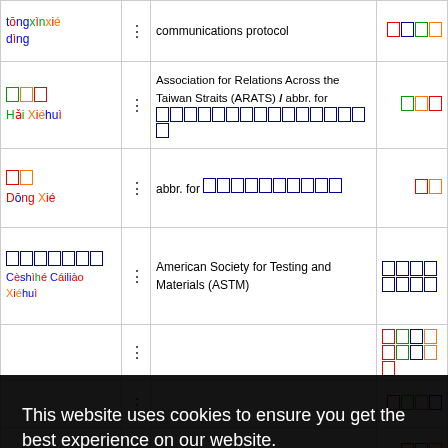| Simplified / Pinyin | · | Definition | Traditional |
| --- | --- | --- | --- |
| tōngxìnxiédìng | · | communications protocol | □□□□ |
| □□□ Hǎi Xiéhuì | · | Association for Relations Across the Taiwan Straits (ARATS) / abbr. for □□□□□□□□□□□□□□□□ | □□□ |
| □□ Dōng Xié | · | abbr. for □□□□□□□□□□ | □□ |
| □□□□□□□ Cèshìhé Cáiliào Xiéhuì | · | American Society for Testing and Materials (ASTM) | □□□□□□□□ |
|  | · |  | □□□□□□□□□ |
|  | · |  | □□□□ |
| xieliche | · | bicycle) | □□□ |
This website uses cookies to ensure you get the best experience on our website.
Learn more
Got it!